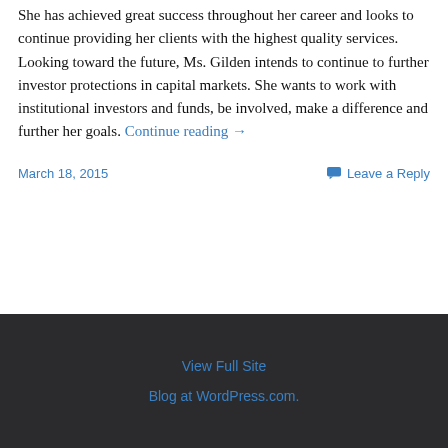She has achieved great success throughout her career and looks to continue providing her clients with the highest quality services. Looking toward the future, Ms. Gilden intends to continue to further investor protections in capital markets. She wants to work with institutional investors and funds, be involved, make a difference and further her goals. Continue reading →
March 18, 2015
Leave a Reply
View Full Site
Blog at WordPress.com.